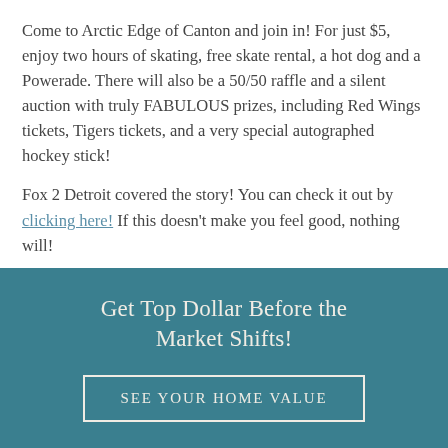Come to Arctic Edge of Canton and join in!  For just $5, enjoy two hours of skating, free skate rental, a hot dog and a Powerade.  There will also be a 50/50 raffle and a silent auction with truly FABULOUS prizes, including Red Wings tickets, Tigers tickets, and a very special autographed hockey stick!
Fox 2 Detroit covered the story! You can check it out by clicking here!  If this doesn't make you feel good, nothing will!
Get Top Dollar Before the Market Shifts!
SEE YOUR HOME VALUE